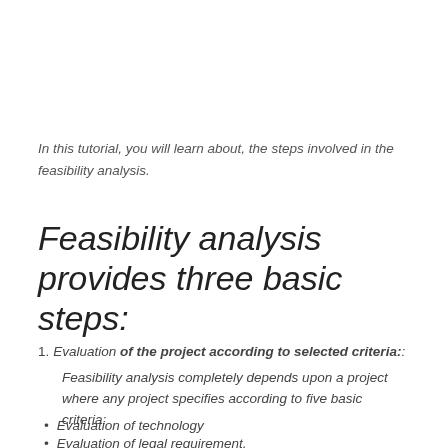In this tutorial, you will learn about, the steps involved in the feasibility analysis.
Feasibility analysis provides three basic steps:
Evaluation of the project according to selected criteria:: Feasibility analysis completely depends upon a project where any project specifies according to five basic criteria:
Evaluation of technology
Evaluation of legal requirement.